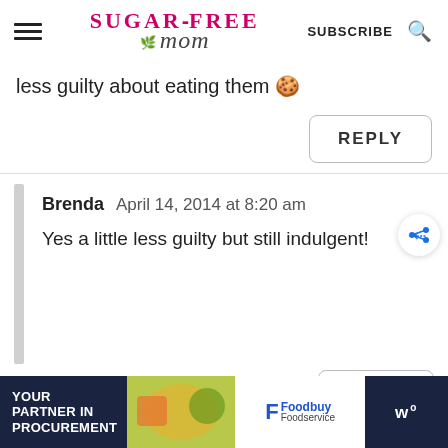Sugar-Free Mom — SUBSCRIBE
less guilty about eating them 🍪
REPLY
Brenda   April 14, 2014 at 8:20 am
Yes a little less guilty but still indulgent!
REPLY
[Figure (infographic): Advertisement banner: YOUR PARTNER IN PROCUREMENT — Foodbuy Foodservice logo — WD logo]